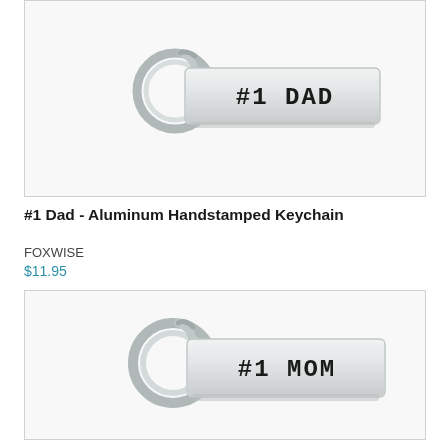[Figure (photo): Photo of a silver aluminum keychain with '#1 DAD' hand-stamped on a rectangular tag, attached to a metal key ring, on white background]
#1 Dad - Aluminum Handstamped Keychain
FOXWISE
$11.95
[Figure (photo): Photo of a silver aluminum keychain with '#1 MOM' hand-stamped on a rectangular tag, attached to a metal key ring, on white background]
#1 Mom - Aluminum Handstamped Keychain